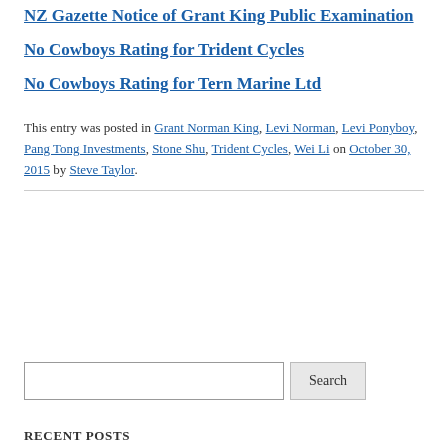NZ Gazette Notice of Grant King Public Examination
No Cowboys Rating for Trident Cycles
No Cowboys Rating for Tern Marine Ltd
This entry was posted in Grant Norman King, Levi Norman, Levi Ponyboy, Pang Tong Investments, Stone Shu, Trident Cycles, Wei Li on October 30, 2015 by Steve Taylor.
RECENT POSTS